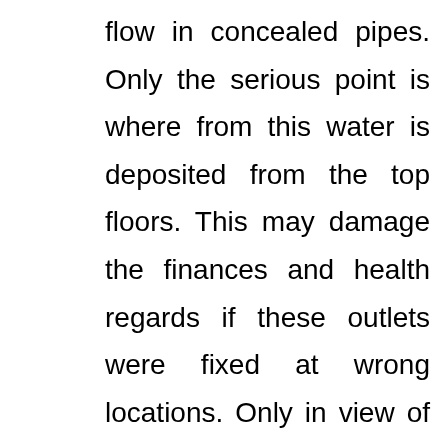flow in concealed pipes. Only the serious point is where from this water is deposited from the top floors. This may damage the finances and health regards if these outlets were fixed at wrong locations. Only in view of this outlet holes, one should fix water pipes at East or North or even in Northeast-east or Northeast-north too.
Some residents like to know the exact locations of the water pipe positions,